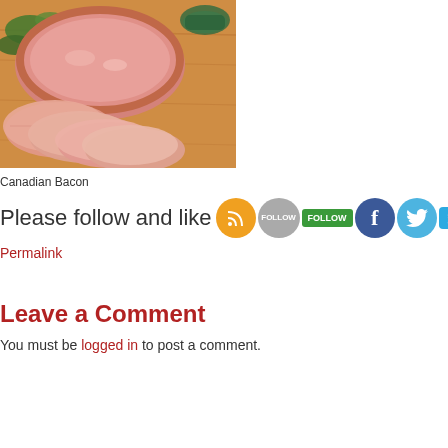[Figure (photo): Sliced Canadian bacon on a wooden cutting board with herbs]
Canadian Bacon
Please follow and like us:
Permalink
Leave a Comment
You must be logged in to post a comment.